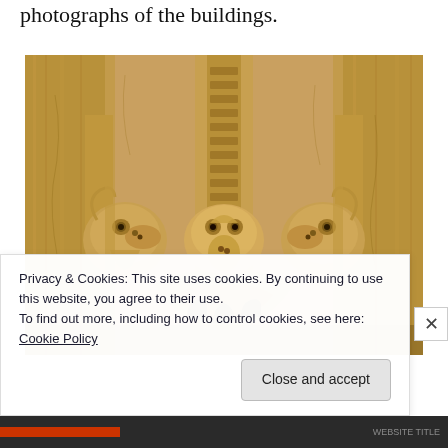photographs of the buildings.
[Figure (photo): Close-up photograph of ornate stone architectural carvings on a building facade. Three bird-like or serpent-like carved stone heads emerge from elaborate Gothic-style foliate stonework, with a decorative recessed panel of horizontal grooves above them, all in warm golden-brown sandstone.]
Privacy & Cookies: This site uses cookies. By continuing to use this website, you agree to their use.
To find out more, including how to control cookies, see here: Cookie Policy
Close and accept